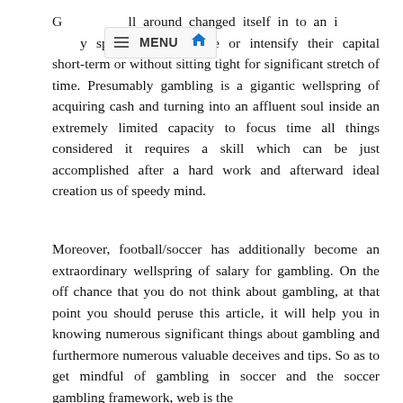G...ll around changed itself in to an i... speculators duplicate or intensify their capital short-term or without sitting tight for significant stretch of time. Presumably gambling is a gigantic wellspring of acquiring cash and turning into an affluent soul inside an extremely limited capacity to focus time all things considered it requires a skill which can be just accomplished after a hard work and afterward ideal creation us of speedy mind.
Moreover, football/soccer has additionally become an extraordinary wellspring of salary for gambling. On the off chance that you do not think about gambling, at that point you should peruse this article, it will help you in knowing numerous significant things about gambling and furthermore numerous valuable deceives and tips. So as to get mindful of gambling in soccer and the soccer gambling framework, web is the